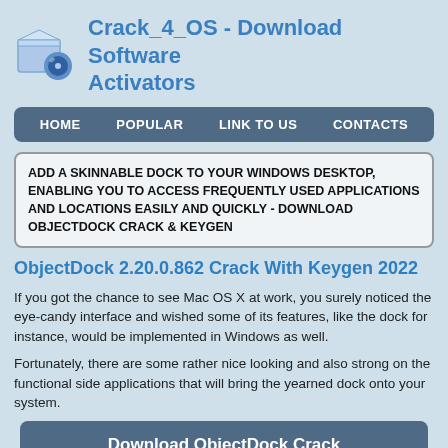Crack_4_OS - Download Software Activators
ADD A SKINNABLE DOCK TO YOUR WINDOWS DESKTOP, ENABLING YOU TO ACCESS FREQUENTLY USED APPLICATIONS AND LOCATIONS EASILY AND QUICKLY - DOWNLOAD OBJECTDOCK CRACK & KEYGEN
ObjectDock 2.20.0.862 Crack With Keygen 2022
If you got the chance to see Mac OS X at work, you surely noticed the eye-candy interface and wished some of its features, like the dock for instance, would be implemented in Windows as well.
Fortunately, there are some rather nice looking and also strong on the functional side applications that will bring the yearned dock onto your system.
Download ObjectDock Crack